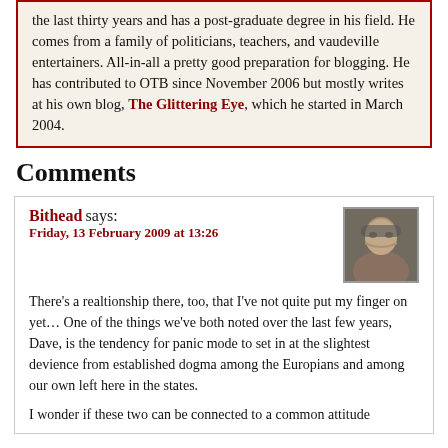the last thirty years and has a post-graduate degree in his field. He comes from a family of politicians, teachers, and vaudeville entertainers. All-in-all a pretty good preparation for blogging. He has contributed to OTB since November 2006 but mostly writes at his own blog, The Glittering Eye, which he started in March 2004.
Comments
Bithead says: Friday, 13 February 2009 at 13:26
There's a realtionship there, too, that I've not quite put my finger on yet… One of the things we've both noted over the last few years, Dave, is the tendency for panic mode to set in at the slightest devience from established dogma among the Europians and among our own left here in the states.
I wonder if these two can be connected to a common attitude